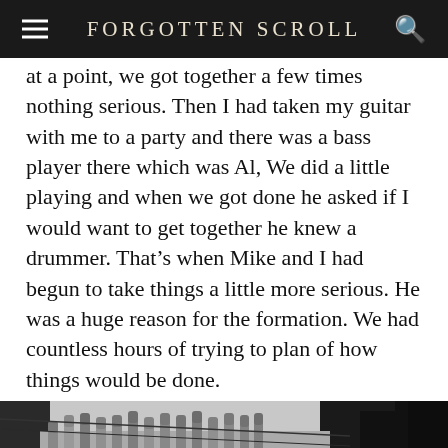FORGOTTEN SCROLL
at a point, we got together a few times nothing serious. Then I had taken my guitar with me to a party and there was a bass player there which was Al, We did a little playing and when we got done he asked if I would want to get together he knew a drummer. That's when Mike and I had begun to take things a little more serious. He was a huge reason for the formation. We had countless hours of trying to plan of how things would be done.
[Figure (photo): Black and white photograph showing people standing near a wooden picket fence. A sign reads 'THIS PROPERTY IS IN THE POSSESSION OF THE ECONOMIC DEVELOPMENT ADMINISTRATION U.S. GOVERNMENT.' A woman is visible on the right side of the image.]